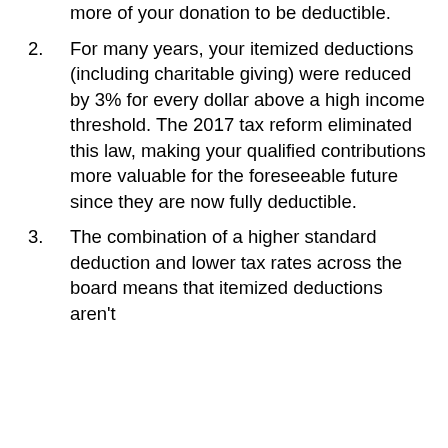more of your donation to be deductible.
2. For many years, your itemized deductions (including charitable giving) were reduced by 3% for every dollar above a high income threshold. The 2017 tax reform eliminated this law, making your qualified contributions more valuable for the foreseeable future since they are now fully deductible.
3. The combination of a higher standard deduction and lower tax rates across the board means that itemized deductions aren't